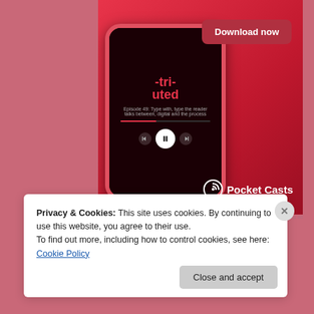[Figure (screenshot): Pocket Casts app advertisement showing a smartphone with the app playing a podcast on a red background, with a 'Download now' button and the Pocket Casts logo]
Pocket Casts ad
wittysarcasticbookclub
Uncategorized, YA Fantasy, YA Fiction
12 Comments   March 31, 2020
Privacy & Cookies: This site uses cookies. By continuing to use this website, you agree to their use. To find out more, including how to control cookies, see here: Cookie Policy